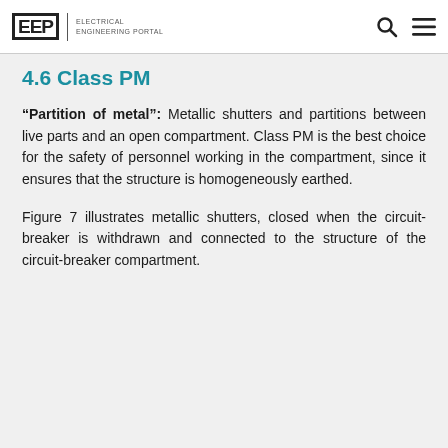EEP | ELECTRICAL ENGINEERING PORTAL
4.6 Class PM
“Partition of metal”: Metallic shutters and partitions between live parts and an open compartment. Class PM is the best choice for the safety of personnel working in the compartment, since it ensures that the structure is homogeneously earthed.
Figure 7 illustrates metallic shutters, closed when the circuit-breaker is withdrawn and connected to the structure of the circuit-breaker compartment.